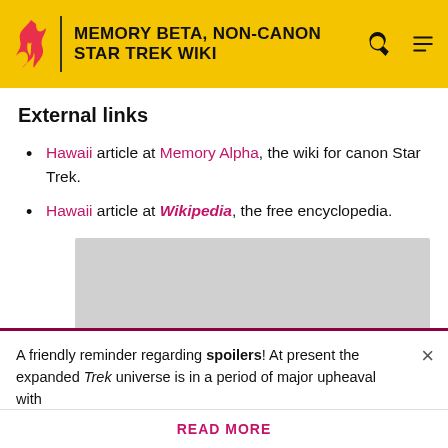MEMORY BETA, NON-CANON STAR TREK WIKI
External links
Hawaii article at Memory Alpha, the wiki for canon Star Trek.
Hawaii article at Wikipedia, the free encyclopedia.
[Figure (other): Gray advertisement placeholder box]
A friendly reminder regarding spoilers! At present the expanded Trek universe is in a period of major upheaval with
READ MORE